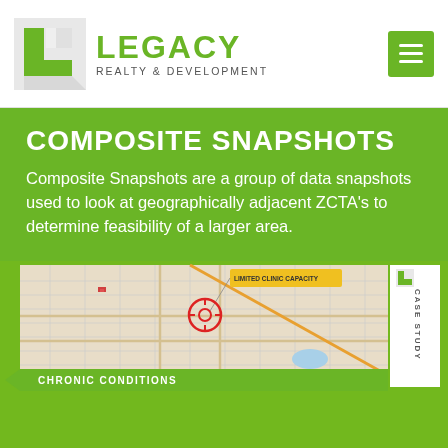[Figure (logo): Legacy Realty & Development logo with green L-shaped icon and company name]
COMPOSITE SNAPSHOTS
Composite Snapshots are a group of data snapshots used to look at geographically adjacent ZCTA's to determine feasibility of a larger area.
[Figure (map): Street map with a red crosshair/target marker, an orange diagonal line, and a yellow label reading 'LIMITED CLINIC CAPACITY'. Case Study tab on the right side. CHRONIC CONDITIONS label at the bottom.]